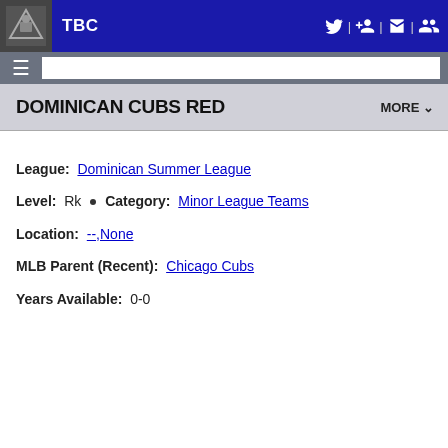TBC
DOMINICAN CUBS RED
League: Dominican Summer League
Level: Rk • Category: Minor League Teams
Location: --,None
MLB Parent (Recent): Chicago Cubs
Years Available: 0-0